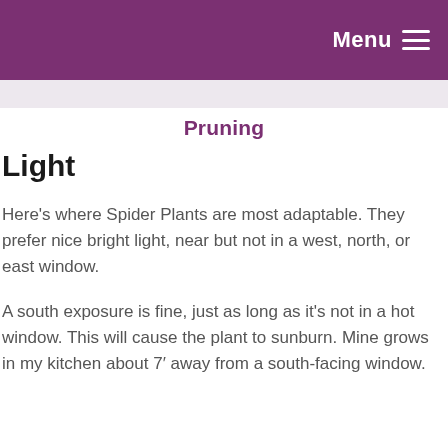Menu
Pruning
Light
Here's where Spider Plants are most adaptable. They prefer nice bright light, near but not in a west, north, or east window.
A south exposure is fine, just as long as it's not in a hot window. This will cause the plant to sunburn. Mine grows in my kitchen about 7′ away from a south-facing window.